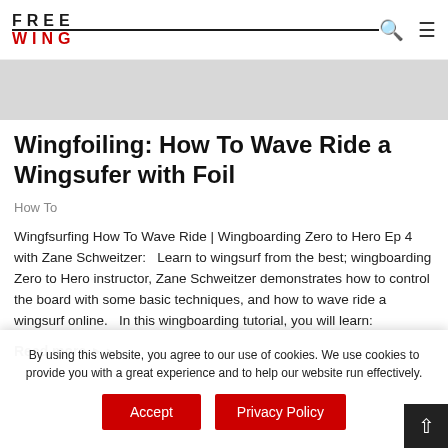FREE WING
[Figure (other): Gray banner / hero image placeholder]
Wingfoiling: How To Wave Ride a Wingsufer with Foil
How To
Wingfsurfing How To Wave Ride | Wingboarding Zero to Hero Ep 4 with Zane Schweitzer:   Learn to wingsurf from the best; wingboarding Zero to Hero instructor, Zane Schweitzer demonstrates how to control the board with some basic techniques, and how to wave ride a wingsurf online.   In this wingboarding tutorial, you will learn:
Read more ▶
By using this website, you agree to our use of cookies. We use cookies to provide you with a great experience and to help our website run effectively.